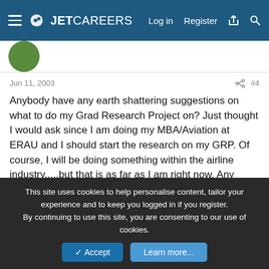JetCareers — Log in  Register
Jun 11, 2003  #4
Anybody have any earth shattering suggestions on what to do my Grad Research Project on? Just thought I would ask since I am doing my MBA/Aviation at ERAU and I should start the research on my GRP. Of course, I will be doing something within the airline industry.....but that is as far as I am right now. Any ideas will help!

Thanks
AdiosYallHaveNiceCareers
New Member
This site uses cookies to help personalise content, tailor your experience and to keep you logged in if you register.
By continuing to use this site, you are consenting to our use of cookies.